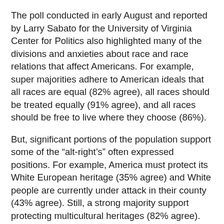The poll conducted in early August and reported by Larry Sabato for the University of Virginia Center for Politics also highlighted many of the divisions and anxieties about race and race relations that affect Americans. For example, super majorities adhere to American ideals that all races are equal (82% agree), all races should be treated equally (91% agree), and all races should be free to live where they choose (86%).
But, significant portions of the population support some of the “alt-right’s” often expressed positions. For example, America must protect its White European heritage (35% agree) and White people are currently under attack in their county (43% agree). Still, a strong majority support protecting multicultural heritages (82% agree). Also, a larger percentage of Americans believe racial minorities are under attack (57%) than believe Whites are under threat (43%).
Although extremists who trade in these race-based appeals don’t marshal much support (Neo-Nazis – 5% support, White Nationalists – 8%, Alt-right – 7%) – witness the recent Charlottesville anniversary activities in D.C. and